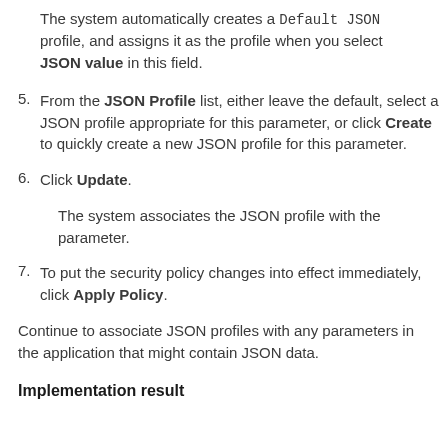The system automatically creates a Default JSON profile, and assigns it as the profile when you select JSON value in this field.
5. From the JSON Profile list, either leave the default, select a JSON profile appropriate for this parameter, or click Create to quickly create a new JSON profile for this parameter.
6. Click Update.
The system associates the JSON profile with the parameter.
7. To put the security policy changes into effect immediately, click Apply Policy.
Continue to associate JSON profiles with any parameters in the application that might contain JSON data.
Implementation result